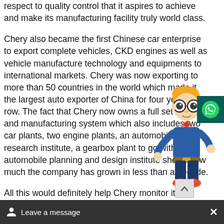respect to quality control that it aspires to achieve and make its manufacturing facility truly world class.
Chery also became the first Chinese car enterprise to export complete vehicles, CKD engines as well as vehicle manufacture technology and equipments to international markets. Chery was now exporting to more than 50 countries in the world which made it the largest auto exporter of China for four years in a row. The fact that Chery now owns a full set of R & D and manufacturing system which also includes two car plants, two engine plants, an automobile research institute, a gearbox plant to go with its automobile planning and design institute shows how much the company has grown in less than a decade.
All this would definitely help Chery monitor its performance when it comes to delivering the hi...
[Figure (illustration): WhatsApp icon button overlay on right side, teal/dark green background with white WhatsApp logo]
[Figure (illustration): Cartoon character of a nerdy student/boy with glasses, orange hair, blue outfit, pointing gesture]
[Figure (other): Scroll-to-top chevron button, light grey background]
Leave a message  ×